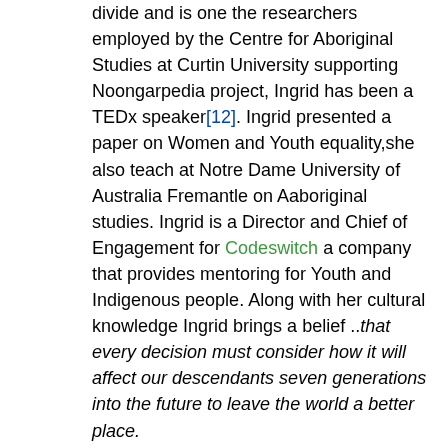divide and is one the researchers employed by the Centre for Aboriginal Studies at Curtin University supporting Noongarpedia project, Ingrid has been a TEDx speaker[12]. Ingrid presented a paper on Women and Youth equality,she also teach at Notre Dame University of Australia Fremantle on Aaboriginal studies. Ingrid is a Director and Chief of Engagement for Codeswitch a company that provides mentoring for Youth and Indigenous people. Along with her cultural knowledge Ingrid brings a belief ..that every decision must consider how it will affect our descendants seven generations into the future to leave the world a better place.
Jennie Buchanan - Jennie Buchanan is currently an ARC Research Associate with the School of Indigenous Studies at University of Western Australia. Jennie has a background in youth studies and has taught in the Indigenous Studies program at UWA and the Community Development program at Murdoch